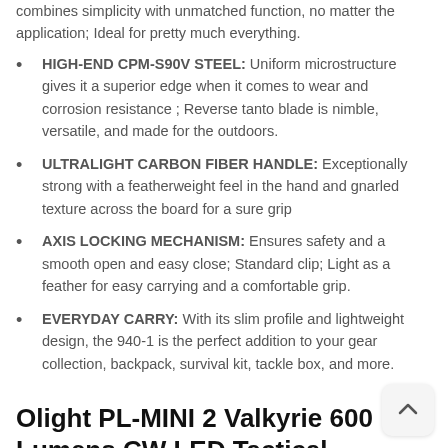combines simplicity with unmatched function, no matter the application; Ideal for pretty much everything.
HIGH-END CPM-S90V STEEL: Uniform microstructure gives it a superior edge when it comes to wear and corrosion resistance ; Reverse tanto blade is nimble, versatile, and made for the outdoors.
ULTRALIGHT CARBON FIBER HANDLE: Exceptionally strong with a featherweight feel in the hand and gnarled texture across the board for a sure grip
AXIS LOCKING MECHANISM: Ensures safety and a smooth open and easy close; Standard clip; Light as a feather for easy carrying and a comfortable grip.
EVERYDAY CARRY: With its slim profile and lightweight design, the 940-1 is the perfect addition to your gear collection, backpack, survival kit, tackle box, and more.
Olight PL-MINI 2 Valkyrie 600 Lumens CW LED Tactical Flashlight Magnetic Rechargeable with